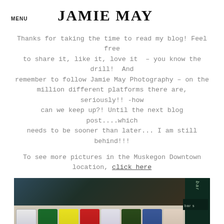MENU   JAMIE MAY
Thanks for taking the time to read my blog! Feel free to share it, like it, love it – you know the drill!  And remember to follow Jamie May Photography – on the million different platforms there are, seriously!! -how can we keep up?! Until the next blog post....which needs to be sooner than later... I am still behind!!!
To see more pictures in the Muskegon Downtown location, click here
[Figure (photo): Photo of colorful novelty socks laid out on a table with a dark green box on the right side]